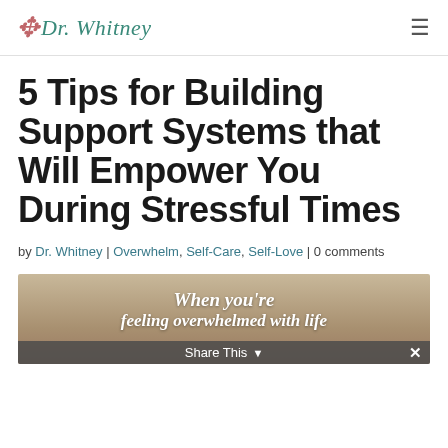Dr. Whitney
5 Tips for Building Support Systems that Will Empower You During Stressful Times
by Dr. Whitney | Overwhelm, Self-Care, Self-Love | 0 comments
[Figure (photo): Featured image with text overlay reading 'When you're feeling overwhelmed with life']
Share This